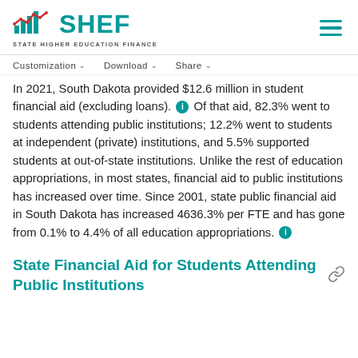SHEF STATE HIGHER EDUCATION FINANCE
Customization  Download  Share
In 2021, South Dakota provided $12.6 million in student financial aid (excluding loans). Of that aid, 82.3% went to students attending public institutions; 12.2% went to students at independent (private) institutions, and 5.5% supported students at out-of-state institutions. Unlike the rest of education appropriations, in most states, financial aid to public institutions has increased over time. Since 2001, state public financial aid in South Dakota has increased 4636.3% per FTE and has gone from 0.1% to 4.4% of all education appropriations.
State Financial Aid for Students Attending Public Institutions